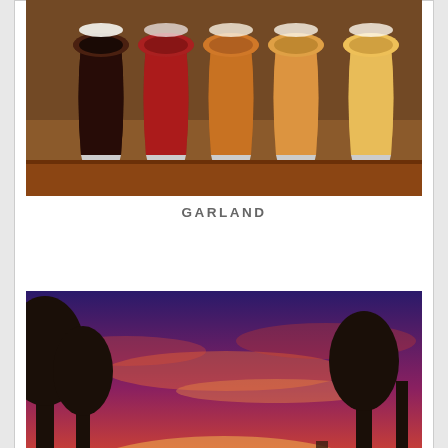[Figure (photo): Row of craft beer glasses in different shades from dark to light amber, arranged on a wooden tray]
GARLAND
[Figure (photo): Outdoor patio with people seated in Adirondack chairs under a dramatic orange and pink sunset sky with trees silhouetted in background]
BANDERA
EXPLORE TEXAS »
[Figure (logo): Texas Original logo on teal/green background with a white Texas state shape and plant leaves icon]
PROMOTED SERIES